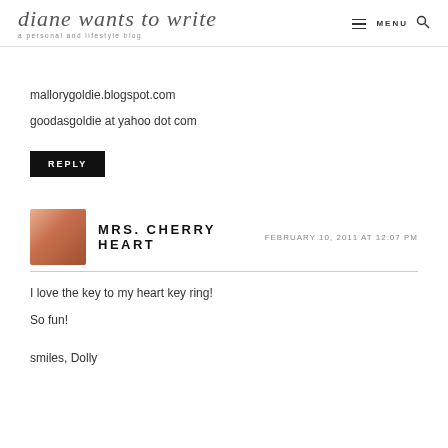diane wants to write — a personal and lifestyle blog | MENU
mallorygoldie.blogspot.com
goodasgoldie at yahoo dot com
REPLY
MRS. CHERRY HEART — FEBRUARY 10, 2011 AT 12:07 PM
I love the key to my heart key ring!
So fun!
smiles, Dolly